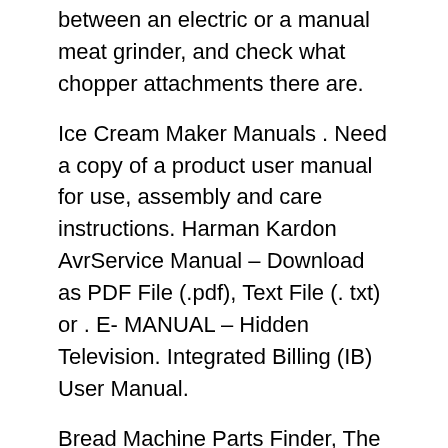between an electric or a manual meat grinder, and check what chopper attachments there are.
Ice Cream Maker Manuals . Need a copy of a product user manual for use, assembly and care instructions. Harman Kardon AvrService Manual – Download as PDF File (.pdf), Text File (. txt) or . E- MANUAL – Hidden Television. Integrated Billing (IB) User Manual.
Bread Machine Parts Finder, The place to find a Breadmaker Kneading Blade, Knead Bar,Kneading Paddle,Dough Hook,Pan Seal Ring,Gasket,Bread Pan,Belt, LiControl Panel. Submit malware for free analysis with Cuckoo Sandbox. Out Of Many Ap Chapter Outlines.
Rohnson R-2User Manual. ILCO FRONT DESK UNIT MANUAL. A meat grinder, or meat mincer, finely chops meat, fish or . R-0Swimming Pool Heater pdf manual download. R-0R...